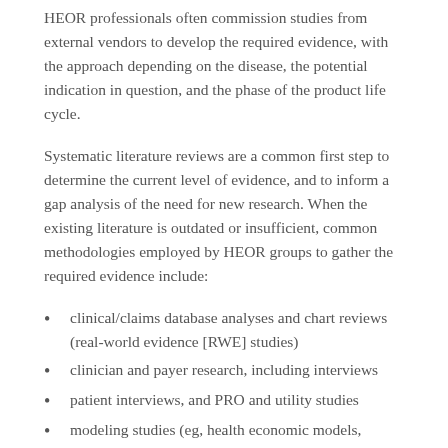HEOR professionals often commission studies from external vendors to develop the required evidence, with the approach depending on the disease, the potential indication in question, and the phase of the product life cycle.
Systematic literature reviews are a common first step to determine the current level of evidence, and to inform a gap analysis of the need for new research. When the existing literature is outdated or insufficient, common methodologies employed by HEOR groups to gather the required evidence include:
clinical/claims database analyses and chart reviews (real-world evidence [RWE] studies)
clinician and payer research, including interviews
patient interviews, and PRO and utility studies
modeling studies (eg, health economic models,